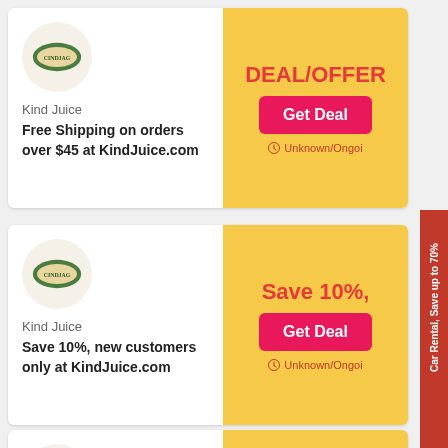DEAL/OFFER
[Figure (logo): Kind Juice circular logo on beige background]
Kind Juice
Free Shipping on orders over $45 at KindJuice.com
Get Deal
Unknown/Ongoing
[Figure (logo): Kind Juice circular logo on beige background]
Save 10%,
Kind Juice
Save 10%, new customers only at KindJuice.com
Get Deal
Unknown/Ongoing
[Figure (logo): Kind Juice circular logo on beige background]
15% off
Car Rental, Save up to 70%
Get 10 images for FREE